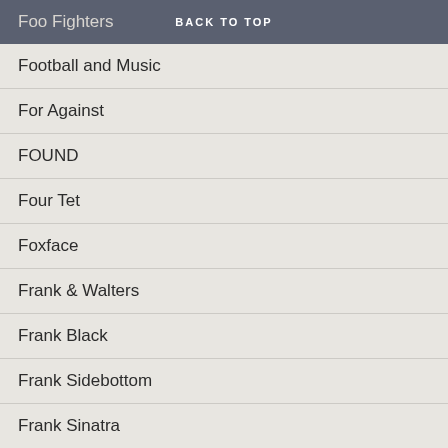BACK TO TOP
Foo Fighters
Football and Music
For Against
FOUND
Four Tet
Foxface
Frank & Walters
Frank Black
Frank Sidebottom
Frank Sinatra
Frankie Goes To Hollywood
Frantic Elevators
Franz Ferdinand